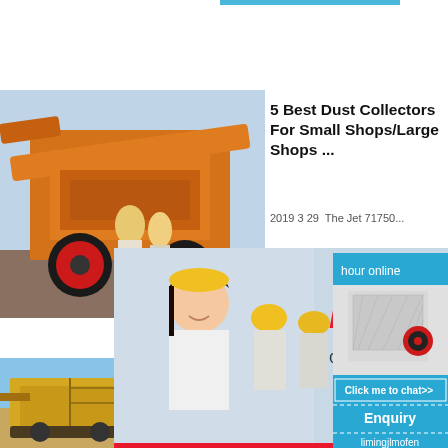[Figure (photo): Industrial mining/crushing machinery with orange equipment and red wheels, workers in yellow hard hats in background]
5 Best Dust Collectors For Small Shops/Large Shops ...
2019 3 29  The Jet 71750...
[Figure (photo): Live chat popup with woman in hard hat and workers. Text: LIVE CHAT, Click for a Free Consultation. Buttons: Chat now, Chat later]
[Figure (photo): Large yellow/tan mining machinery in desert setting]
What's Collect A Smal
6 Is The W...
[Figure (photo): Right sidebar with crusher machine image, Click me to chat>> button, Enquiry section, limingjlmofen text on blue background]
hour online
Click me to chat>>
Enquiry
limingjlmofen